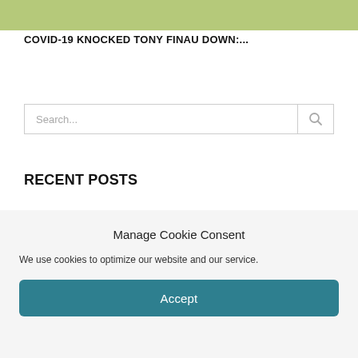[Figure (photo): Partial outdoor photo, greenish background, top of page]
COVID-19 KNOCKED TONY FINAU DOWN:...
Search...
RECENT POSTS
Manage Cookie Consent
We use cookies to optimize our website and our service.
Accept